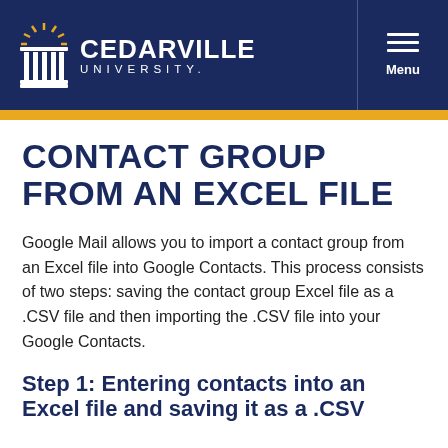CEDARVILLE UNIVERSITY — Menu
CONTACT GROUP FROM AN EXCEL FILE
Google Mail allows you to import a contact group from an Excel file into Google Contacts. This process consists of two steps: saving the contact group Excel file as a .CSV file and then importing the .CSV file into your Google Contacts.
Step 1: Entering contacts into an Excel file and saving it as a .CSV